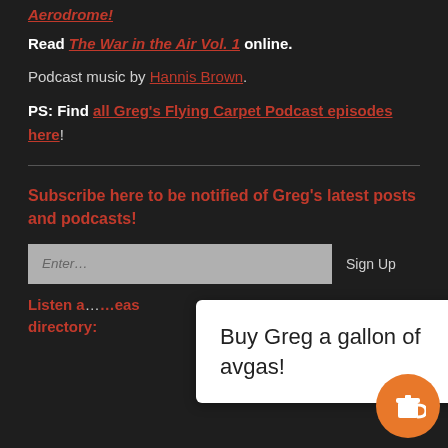Aerodrome!
Read The War in the Air Vol. 1 online.
Podcast music by Hannis Brown.
PS: Find all Greg's Flying Carpet Podcast episodes here!
Subscribe here to be notified of Greg's latest posts and podcasts!
Enter... Sign Up
[Figure (other): Tooltip popup saying 'Buy Greg a gallon of avgas!' overlaid on page, with orange coffee cup button in bottom right corner]
Listen a... eas directory: